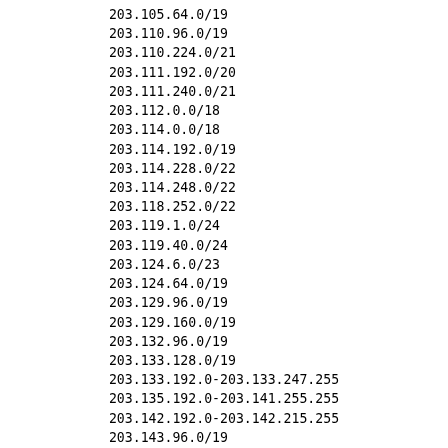203.105.64.0/19
203.110.96.0/19
203.110.224.0/21
203.111.192.0/20
203.111.240.0/21
203.112.0.0/18
203.114.0.0/18
203.114.192.0/19
203.114.228.0/22
203.114.248.0/22
203.118.252.0/22
203.119.1.0/24
203.119.40.0/24
203.124.6.0/23
203.124.64.0/19
203.129.96.0/19
203.129.160.0/19
203.132.96.0/19
203.133.128.0/19
203.133.192.0-203.133.247.255
203.135.192.0-203.141.255.255
203.142.192.0-203.142.215.255
203.143.96.0/19
203.145.96.0/20
203.145.120.0/21
203.145.224.0/19
203.147.112.0/20
203.148.96.0/19
203.149.96.0/20
203.152.61.0/24